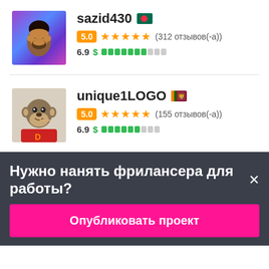sazid430 🇧🇩
5.0 ★★★★★ (312 отзывов(-а))
6.9 $ ▓▓▓▓▓▓▓░░░
unique1LOGO 🇱🇰
5.0 ★★★★★ (155 отзывов(-а))
6.9 $ ▓▓▓▓▓▓░░░
Нужно нанять фрилансера для работы?×
Опубликовать проект